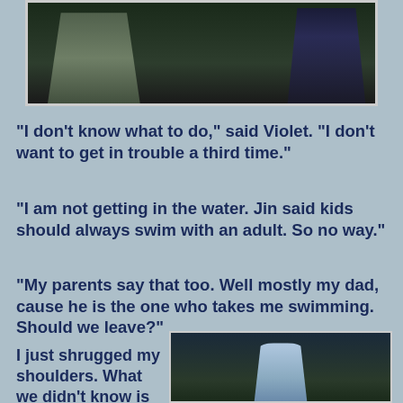[Figure (screenshot): Screenshot from The Sims video game showing two characters standing outdoors at night, one in light-colored clothing and one in dark clothing]
“I don’t know what to do,” said Violet.  “I don’t want to get in trouble a third time.”
“I am not getting in the water.  Jin said kids should always swim with an adult.  So no way.”
“My parents say that too.  Well mostly my dad, cause he is the one who takes me swimming.  Should we leave?”
I just shrugged my shoulders.  What we didn’t know is that Jilly had followed us and seen the
[Figure (screenshot): Screenshot from The Sims video game showing a young female character in light blue outfit running outdoors at night near a fence and building]